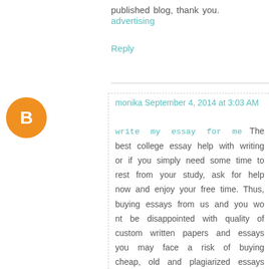published blog, thank you. advertising
Reply
monika September 4, 2014 at 3:03 AM
write my essay for me The best college essay help with writing or if you simply need some time to rest from your study, ask for help now and enjoy your free time. Thus, buying essays from us and you wo nt be disappointed with quality of custom written papers and essays you may face a risk of buying cheap, old and plagiarized essays from cheap internet writers; remember, cheap is expensive! If you are in High quality